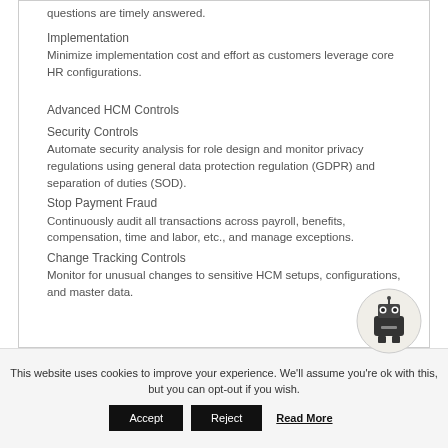questions are timely answered.
Implementation
Minimize implementation cost and effort as customers leverage core HR configurations.
Advanced HCM Controls
Security Controls
Automate security analysis for role design and monitor privacy regulations using general data protection regulation (GDPR) and separation of duties (SOD).
Stop Payment Fraud
Continuously audit all transactions across payroll, benefits, compensation, time and labor, etc., and manage exceptions.
Change Tracking Controls
Monitor for unusual changes to sensitive HCM setups, configurations, and master data.
This website uses cookies to improve your experience. We'll assume you're ok with this, but you can opt-out if you wish.